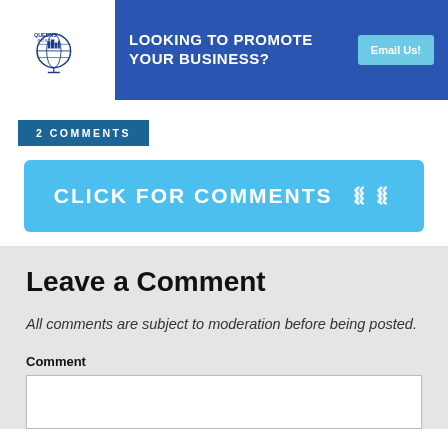Queens Post — LOOKING TO PROMOTE YOUR BUSINESS? Email Us!
2 COMMENTS
CLICK FOR COMMENTS ❯❯
Leave a Comment
All comments are subject to moderation before being posted.
Comment